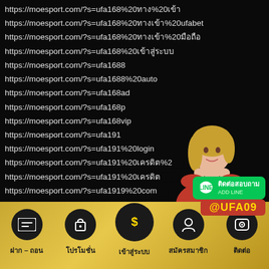https://moesport.com/?s=ufa168%20ทาง%20เข้า
https://moesport.com/?s=ufa168%20ทางเข้า%20ufabet
https://moesport.com/?s=ufa168%20ทางเข้า%20มือถือ
https://moesport.com/?s=ufa168%20เข้าสู่ระบบ
https://moesport.com/?s=ufa1688
https://moesport.com/?s=ufa1688%20auto
https://moesport.com/?s=ufa168ad
https://moesport.com/?s=ufa168p
https://moesport.com/?s=ufa168vip
https://moesport.com/?s=ufa191
https://moesport.com/?s=ufa191%20login
https://moesport.com/?s=ufa191%20เครดิต%2...0
https://moesport.com/?s=ufa191%20เครดิต...
https://moesport.com/?s=ufa1919%20com...
[Figure (photo): Woman in red dress posing]
[Figure (infographic): LINE contact badge: ติดต่อสอบถาม ADD LINE]
[Figure (infographic): @UFA09 red tag]
[Figure (infographic): Footer navigation bar with 5 icons: ฝาก-ถอน, โปรโมชั่น, เข้าสู่ระบบ, สมัครสมาชิก, ติดต่อ]